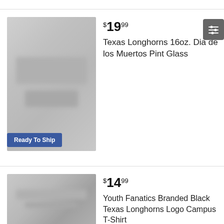$19.99
Texas Longhorns 16oz. Dia de los Muertos Pint Glass
Ready To Ship
$14.99
Youth Fanatics Branded Black Texas Longhorns Logo Campus T-Shirt